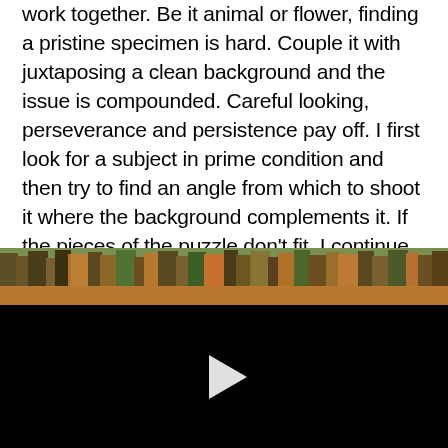work together. Be it animal or flower, finding a pristine specimen is hard. Couple it with juxtaposing a clean background and the issue is compounded. Careful looking, perseverance and persistence pay off. I first look for a subject in prime condition and then try to find an angle from which to shoot it where the background complements it. If the pieces of the puzzle don't fit, I continue my search.
[Figure (photo): A video player showing a forest/woodland scene with trees in autumn colors (yellows, oranges, browns) at the top strip, and a black video player area below with a white play button triangle in the center.]